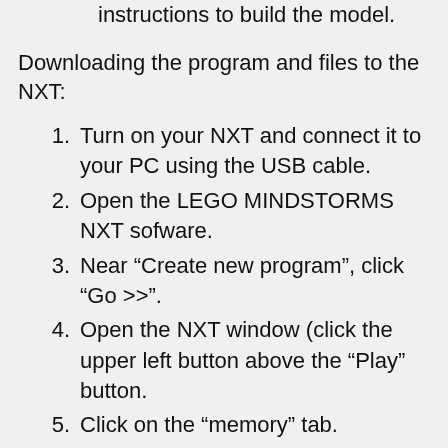instructions to build the model.
Downloading the program and files to the NXT:
1. Turn on your NXT and connect it to your PC using the USB cable.
2. Open the LEGO MINDSTORMS NXT sofware.
3. Near “Create new program”, click “Go >>”.
4. Open the NXT window (click the upper left button above the “Play” button.
5. Click on the “memory” tab.
6. Click “Download”. Go to folder you have